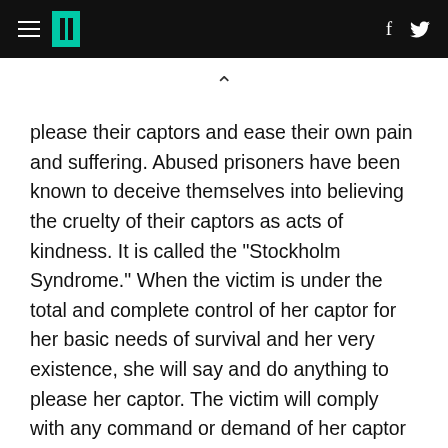HuffPost navigation header with hamburger menu, logo, Facebook and Twitter icons
please their captors and ease their own pain and suffering. Abused prisoners have been known to deceive themselves into believing the cruelty of their captors as acts of kindness. It is called the "Stockholm Syndrome." When the victim is under the total and complete control of her captor for her basic needs of survival and her very existence, she will say and do anything to please her captor. The victim will comply with any command or demand of her captor just to survive and remain sane, and not self-destruct by giving in to the terror and rage she feels for her helpless situation. It is ironic that Birtukan in this